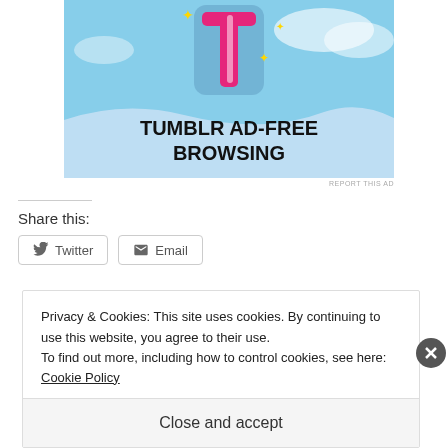[Figure (screenshot): Tumblr Ad-Free Browsing advertisement banner with pink Tumblr logo on blue sky background]
REPORT THIS AD
Share this:
Twitter
Email
Privacy & Cookies: This site uses cookies. By continuing to use this website, you agree to their use.
To find out more, including how to control cookies, see here: Cookie Policy
Close and accept